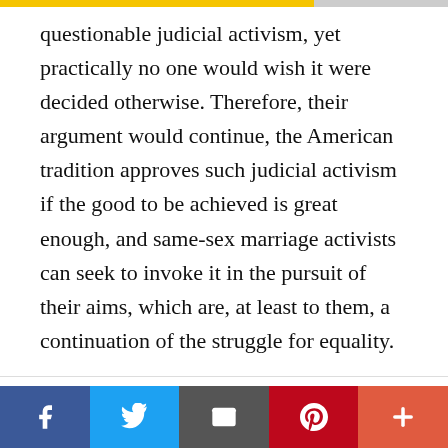questionable judicial activism, yet practically no one would wish it were decided otherwise. Therefore, their argument would continue, the American tradition approves such judicial activism if the good to be achieved is great enough, and same-sex marriage activists can seek to invoke it in the pursuit of their aims, which are, at least to them, a continuation of the struggle for equality.
We use cookies on our website to give you the most relevant experience by remembering your preferences and repeat visits. By clicking “Accept All”, you consent to the use of ALL the cookies. However, you may visit "Cookie Settings" to provide a controlled consent.
Facebook | Twitter | Email | Pinterest | More